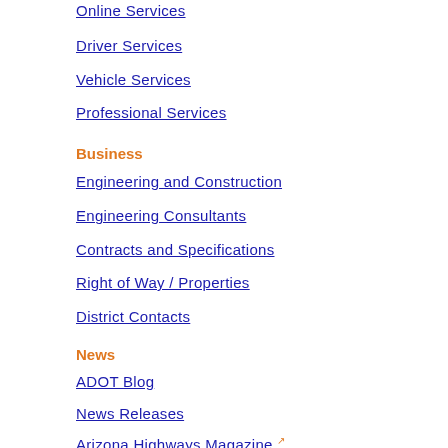Online Services
Driver Services
Vehicle Services
Professional Services
Business
Engineering and Construction
Engineering Consultants
Contracts and Specifications
Right of Way / Properties
District Contacts
News
ADOT Blog
News Releases
Arizona Highways Magazine (external link)